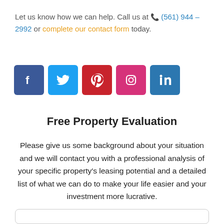Let us know how we can help. Call us at 📞 (561) 944 – 2992 or complete our contact form today.
[Figure (illustration): Row of five social media icon buttons: Facebook (dark blue), Twitter (light blue), Pinterest (red), Instagram (pink/red), LinkedIn (blue)]
Free Property Evaluation
Please give us some background about your situation and we will contact you with a professional analysis of your specific property's leasing potential and a detailed list of what we can do to make your life easier and your investment more lucrative.